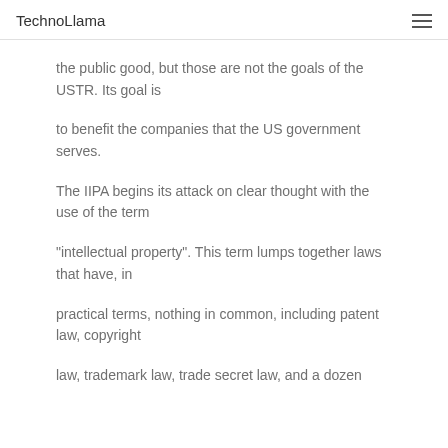TechnoLlama
the public good, but those are not the goals of the USTR. Its goal is
to benefit the companies that the US government serves.
The IIPA begins its attack on clear thought with the use of the term
"intellectual property". This term lumps together laws that have, in
practical terms, nothing in common, including patent law, copyright
law, trademark law, trade secret law, and a dozen